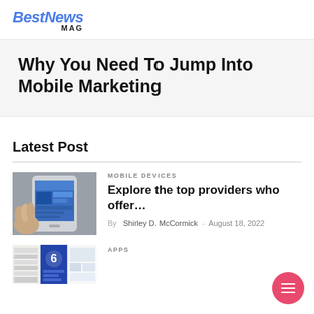BestNews MAG
Why You Need To Jump Into Mobile Marketing
Latest Post
MOBILE DEVICES
Explore the top providers who offer…
By  Shirley D. McCormick  -  August 18, 2022
[Figure (photo): Hand holding a smartphone showing a web page]
APPS
[Figure (photo): App thumbnails/screenshots collage]